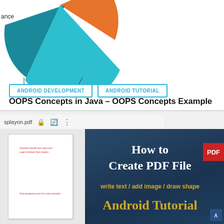[Figure (pie-chart): Partial pie chart showing segments in orange, teal/cyan, and blue. Labels visible: 'ance' (left, cut off), 'Class' (bottom left), 'Object' (bottom center).]
ANDROID DEVELOPMENT   ANDROID TUTORIAL
OOPS Concepts in Java – OOPS Concepts Example
[Figure (screenshot): Screenshot of a PDF viewer (browser interface) showing a file named 'splayon.pdf' with lock icon, refresh icon, and menu icon in the browser bar. Left panel shows a PDF thumbnail with small red text lines. Right panel shows a dark blue banner reading 'How to Create PDF File' with a red PDF label, subtitle 'write text / add image / draw shape', and 'Android Tutorial' in gold text.]